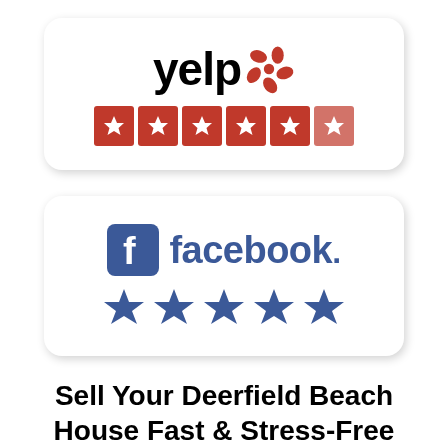[Figure (logo): Yelp logo with 5-star rating in red star boxes]
[Figure (logo): Facebook logo with 5 blue stars rating]
Sell Your Deerfield Beach House Fast & Stress-Free